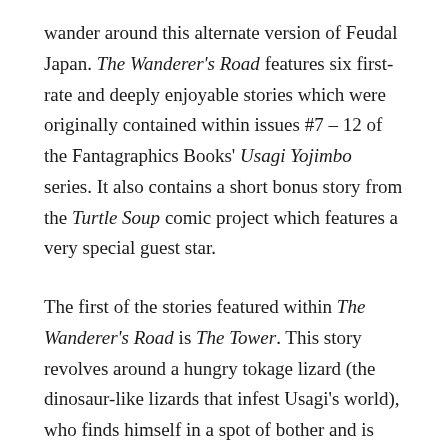wander around this alternate version of Feudal Japan. The Wanderer's Road features six first-rate and deeply enjoyable stories which were originally contained within issues #7 – 12 of the Fantagraphics Books' Usagi Yojimbo series. It also contains a short bonus story from the Turtle Soup comic project which features a very special guest star.
The first of the stories featured within The Wanderer's Road is The Tower. This story revolves around a hungry tokage lizard (the dinosaur-like lizards that infest Usagi's world), who finds himself in a spot of bother and is chased up a tower by an angry shopkeeper, who refuses to let it down. Usagi, arriving upon the scene, decides to intervene, and attempts to rescue the tokage;